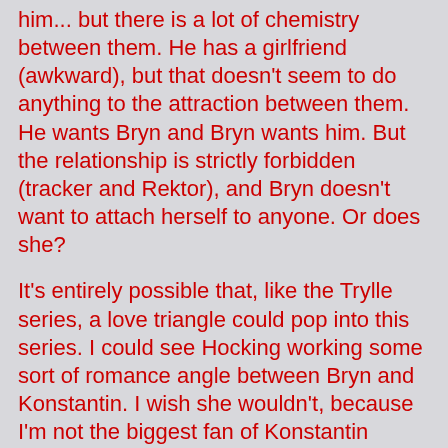him... but there is a lot of chemistry between them. He has a girlfriend (awkward), but that doesn't seem to do anything to the attraction between them. He wants Bryn and Bryn wants him. But the relationship is strictly forbidden (tracker and Rektor), and Bryn doesn't want to attach herself to anyone. Or does she?
It's entirely possible that, like the Trylle series, a love triangle could pop into this series. I could see Hocking working some sort of romance angle between Bryn and Konstantin. I wish she wouldn't, because I'm not the biggest fan of Konstantin (yet?), and I like Ridley.
The thing is, we don't get to know much about Konstantin, or his motives, or what's going on, really. We don't get to know why he attacked Bryn's father, years ago. We don't know why he and Bent are trying